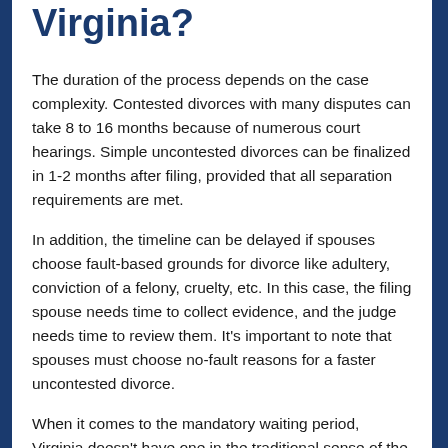Virginia?
The duration of the process depends on the case complexity. Contested divorces with many disputes can take 8 to 16 months because of numerous court hearings. Simple uncontested divorces can be finalized in 1-2 months after filing, provided that all separation requirements are met.
In addition, the timeline can be delayed if spouses choose fault-based grounds for divorce like adultery, conviction of a felony, cruelty, etc. In this case, the filing spouse needs time to collect evidence, and the judge needs time to review them. It's important to note that spouses must choose no-fault reasons for a faster uncontested divorce.
When it comes to the mandatory waiting period, Virginia doesn't have one in the traditional sense of the term. However, the state requires spouses to live separately